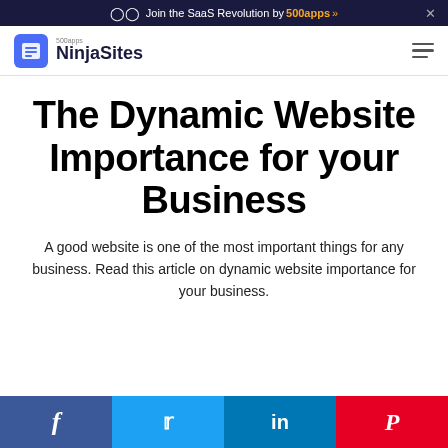Join the SaaS Revolution by 500apps »
[Figure (logo): NinjaSites logo with 500apps text above and a blue icon with document lines]
The Dynamic Website Importance for your Business
A good website is one of the most important things for any business. Read this article on dynamic website importance for your business.
[Figure (infographic): Social share bar with Facebook, Twitter, LinkedIn, and Pinterest buttons]